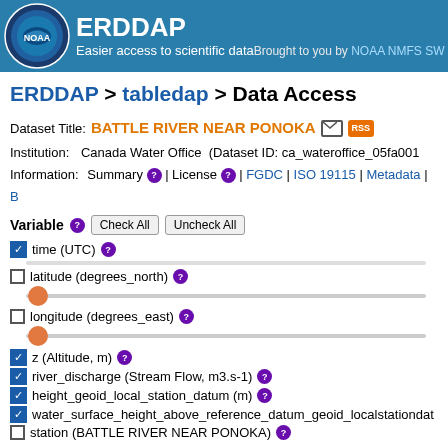ERDDAP - Easier access to scientific data - Brought to you by NOAA NMFS SW
ERDDAP > tabledap > Data Access
Dataset Title: BATTLE RIVER NEAR PONOKA
Institution: Canada Water Office (Dataset ID: ca_wateroffice_05fa001
Information: Summary | License | FGDC | ISO 19115 | Metadata | B
Variable - Check All - Uncheck All
time (UTC)
latitude (degrees_north)
longitude (degrees_east)
z (Altitude, m)
river_discharge (Stream Flow, m3.s-1)
height_geoid_local_station_datum (m)
water_surface_height_above_reference_datum_geoid_localstationdat
station (BATTLE RIVER NEAR PONOKA)